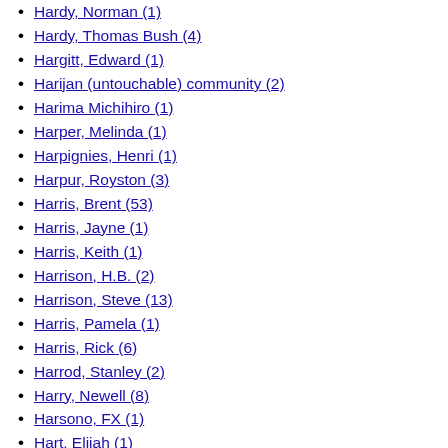Hardy, Norman (1)
Hardy, Thomas Bush (4)
Hargitt, Edward (1)
Harijan (untouchable) community (2)
Harima Michihiro (1)
Harper, Melinda (1)
Harpignies, Henri (1)
Harpur, Royston (3)
Harris, Brent (53)
Harris, Jayne (1)
Harris, Keith (1)
Harrison, H.B. (2)
Harrison, Steve (13)
Harris, Pamela (1)
Harris, Rick (6)
Harrod, Stanley (2)
Harry, Newell (8)
Harsono, FX (1)
Hart, Elijah (1)
Hart, Henry (1)
Hartigan, Patrick (1)
Hartley, Alfred (1)
Hart, Pro (1)
Hartrick, Archibald Standish (3)
Haruyasu (1)
Harv, FA (2)